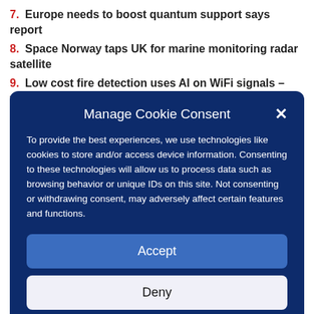7. Europe needs to boost quantum support says report
8. Space Norway taps UK for marine monitoring radar satellite
9. Low cost fire detection uses AI on WiFi signals – video
Manage Cookie Consent
To provide the best experiences, we use technologies like cookies to store and/or access device information. Consenting to these technologies will allow us to process data such as browsing behavior or unique IDs on this site. Not consenting or withdrawing consent, may adversely affect certain features and functions.
Accept
Deny
View preferences
Privacy Statement